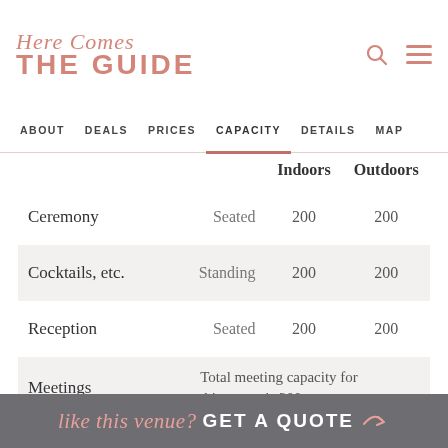Here Comes THE GUIDE
ABOUT  DEALS  PRICES  CAPACITY  DETAILS  MAP
|  |  | Indoors | Outdoors |
| --- | --- | --- | --- |
| Ceremony | Seated | 200 | 200 |
| Cocktails, etc. | Standing | 200 | 200 |
| Reception | Seated | 200 | 200 |
| Meetings | Total meeting capacity for this venue is 200. |  |  |
like this venue? GET A QUOTE